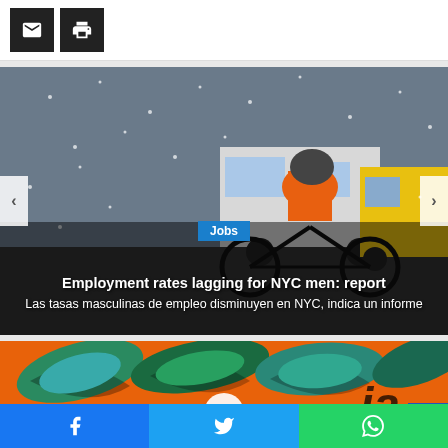[Figure (screenshot): Toolbar with email and print icon buttons on white background]
[Figure (photo): NYC street scene in snow with a cyclist in orange high-visibility jacket, white van and yellow taxi in background]
Jobs
Employment rates lagging for NYC men: report
Las tasas masculinas de empleo disminuyen en NYC, indica un informe
[Figure (photo): Colorful graffiti mural with orange, green and teal colors]
Facebook share | Twitter share | WhatsApp share